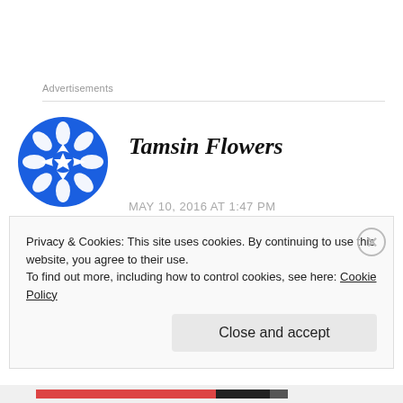Advertisements
[Figure (logo): Blue decorative snowflake/geometric avatar icon for Tamsin Flowers]
Tamsin Flowers
MAY 10, 2016 AT 1:47 PM
I'm very interested to read this. I started Behind the Scenes at the Museum and absolutely couldn't read it – but my whole book group love
Privacy & Cookies: This site uses cookies. By continuing to use this website, you agree to their use.
To find out more, including how to control cookies, see here: Cookie Policy
Close and accept